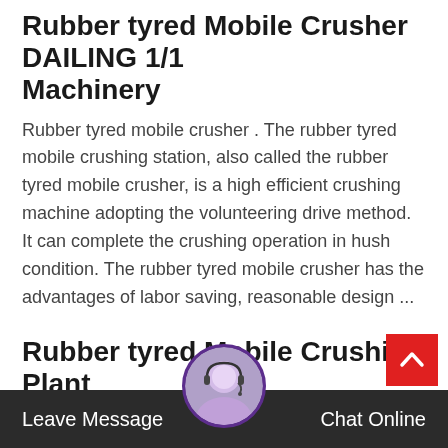Rubber tyred Mobile Crusher DAILING 1/1 Machinery
Rubber tyred mobile crusher . The rubber tyred mobile crushing station, also called the rubber tyred mobile crusher, is a high efficient crushing machine adopting the volunteering drive method. It can complete the crushing operation in hush condition. The rubber tyred mobile crusher has the advantages of labor saving, reasonable design ...
Rubber tyred Mobile Crushing Plant
Rubber-tyred Mobile Crushing Plant The mobile crushing plant is mainly applied in metallurgy, chemical, building materials, hydropower industries where we need to move the products to the customer, especially dealing with stones for highway, railway and ...
Leave Message   Chat Online